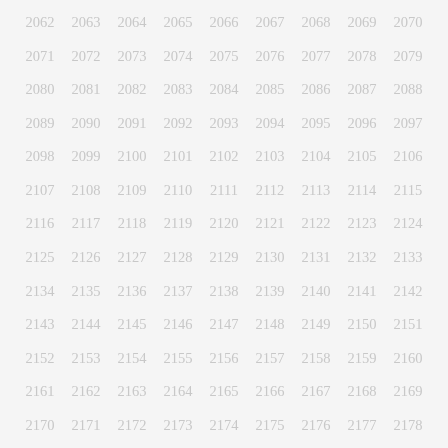2062 2063 2064 2065 2066 2067 2068 2069 2070 2071 2072 2073 2074 2075 2076 2077 2078 2079 2080 2081 2082 2083 2084 2085 2086 2087 2088 2089 2090 2091 2092 2093 2094 2095 2096 2097 2098 2099 2100 2101 2102 2103 2104 2105 2106 2107 2108 2109 2110 2111 2112 2113 2114 2115 2116 2117 2118 2119 2120 2121 2122 2123 2124 2125 2126 2127 2128 2129 2130 2131 2132 2133 2134 2135 2136 2137 2138 2139 2140 2141 2142 2143 2144 2145 2146 2147 2148 2149 2150 2151 2152 2153 2154 2155 2156 2157 2158 2159 2160 2161 2162 2163 2164 2165 2166 2167 2168 2169 2170 2171 2172 2173 2174 2175 2176 2177 2178